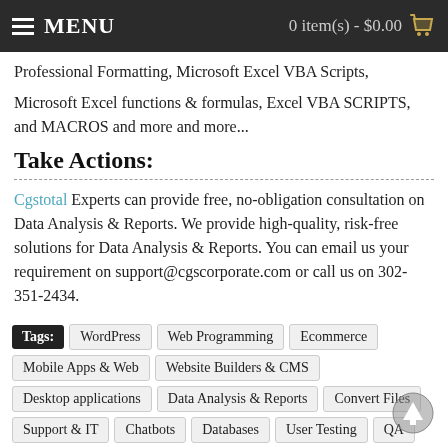MENU | 0 item(s) - $0.00
Professional Formatting, Microsoft Excel VBA Scripts,
Microsoft Excel functions & formulas, Excel VBA SCRIPTS, and MACROS and more and more...
Take Actions:
Cgstotal Experts can provide free, no-obligation consultation on Data Analysis & Reports. We provide high-quality, risk-free solutions for Data Analysis & Reports. You can email us your requirement on support@cgscorporate.com or call us on 302-351-2434.
Tags: WordPress  Web Programming  Ecommerce  Mobile Apps & Web  Website Builders & CMS  Desktop applications  Data Analysis & Reports  Convert Files  Support & IT  Chatbots  Databases  User Testing  QA